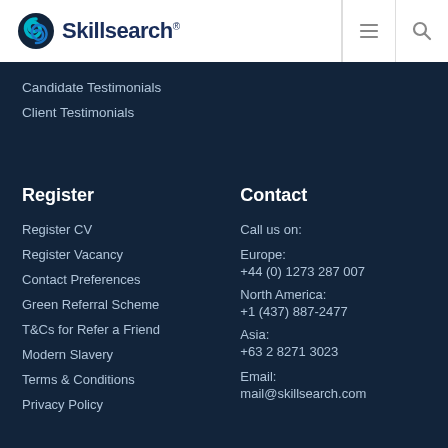Skillsearch®
Candidate Testimonials
Client Testimonials
Register
Register CV
Register Vacancy
Contact Preferences
Green Referral Scheme
T&Cs for Refer a Friend
Modern Slavery
Terms & Conditions
Privacy Policy
Contact
Call us on:
Europe: +44 (0) 1273 287 007
North America: +1 (437) 887-2477
Asia: +63 2 8271 3023
Email:
mail@skillsearch.com